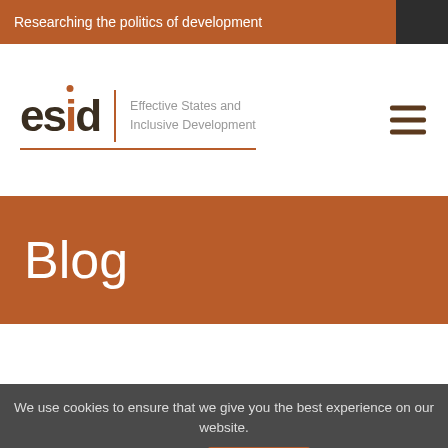Researching the politics of development
[Figure (logo): ESID logo — Effective States and Inclusive Development]
Blog
We use cookies to ensure that we give you the best experience on our website.